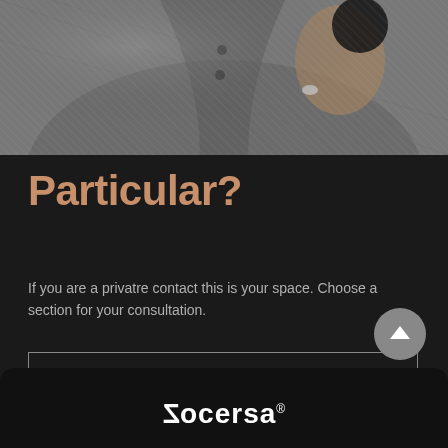[Figure (photo): Black and white photo of a person in a grey suit jacket, holding a watch or cup with their hand, wearing a ring]
Particular?
If you are a privatre contact this is your space. Choose a section for your consultation.
PRIVATE CONTACT
rocersa®